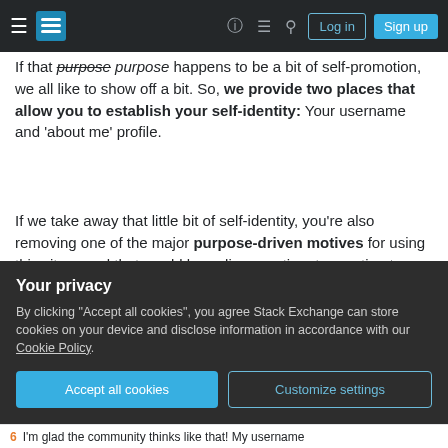Stack Exchange navigation bar with hamburger menu, logo, help, chat, search icons, Log in and Sign up buttons
If that purpose happens to be a bit of self-promotion, we all like to show off a bit. So, we provide two places that allow you to establish your self-identity: Your username and 'about me' profile.
If we take away that little bit of self-identity, you're also removing one of the major purpose-driven motives for using this site… and that would be a disproportionate reaction to allay some momentary irk you assign to something so inconsequential.
Share
edited Aug 4, 2011 at 19:10
[Figure (screenshot): Cookie consent overlay: 'Your privacy' heading, description about accepting cookies and Cookie Policy link, Accept all cookies button (blue) and Customize settings button (outlined)]
I'm glad the community thinks like that! My username...